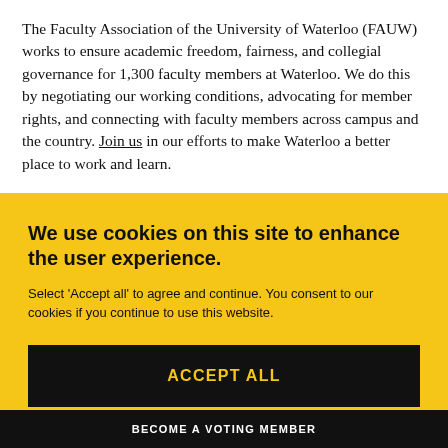The Faculty Association of the University of Waterloo (FAUW) works to ensure academic freedom, fairness, and collegial governance for 1,300 faculty members at Waterloo. We do this by negotiating our working conditions, advocating for member rights, and connecting with faculty members across campus and the country. Join us in our efforts to make Waterloo a better place to work and learn.
We use cookies on this site to enhance the user experience.
Select 'Accept all' to agree and continue. You consent to our cookies if you continue to use this website.
ACCEPT ALL
BECOME A VOTING MEMBER